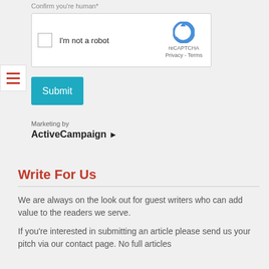Confirm you're human*
[Figure (other): reCAPTCHA widget with checkbox labeled 'I'm not a robot' and reCAPTCHA logo with Privacy - Terms links]
Submit
Marketing by
ActiveCampaign >
Write For Us
We are always on the look out for guest writers who can add value to the readers we serve.
If you're interested in submitting an article please send us your pitch via our contact page. No full articles